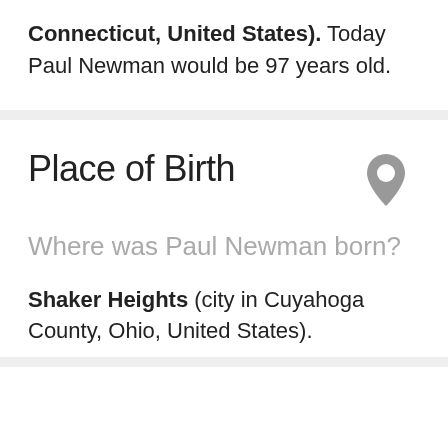Connecticut, United States). Today Paul Newman would be 97 years old.
Place of Birth
Where was Paul Newman born?
Shaker Heights (city in Cuyahoga County, Ohio, United States).